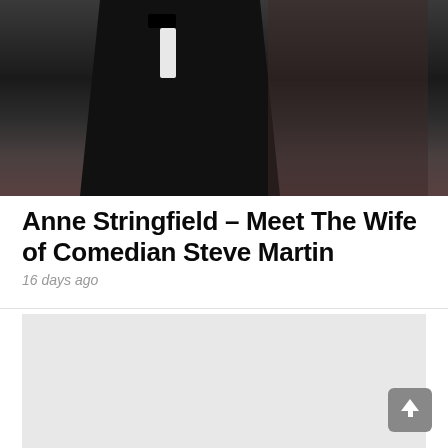[Figure (photo): A couple at a formal event. A man in a black tuxedo with a bow tie on the left, and a woman in a sheer floral/lace dress on the right. Dark background suggesting an indoor venue.]
Anne Stringfield – Meet The Wife of Comedian Steve Martin
16 days ago
[Figure (other): Light gray advertisement placeholder rectangle]